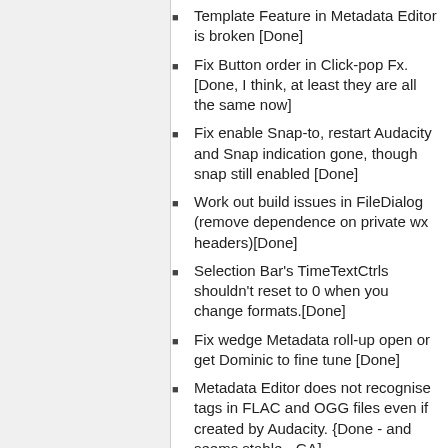Template Feature in Metadata Editor is broken [Done]
Fix Button order in Click-pop Fx. [Done, I think, at least they are all the same now]
Fix enable Snap-to, restart Audacity and Snap indication gone, though snap still enabled [Done]
Work out build issues in FileDialog (remove dependence on private wx headers)[Done]
Selection Bar's TimeTextCtrls shouldn't reset to 0 when you change formats.[Done]
Fix wedge Metadata roll-up open or get Dominic to fine tune [Done]
Metadata Editor does not recognise tags in FLAC and OGG files even if created by Audacity. {Done - and seems stable - GA]
Fix: Warning dlg if double click MP3 whilst importing MP3 on Mac.
Fix: Disallow clicking on menus when a progress dialog is running, as per 1.2.x behaviour (liable to cause crashes). 'This has an interaction with JAWS. It's due to a change in the way progress dialogs are